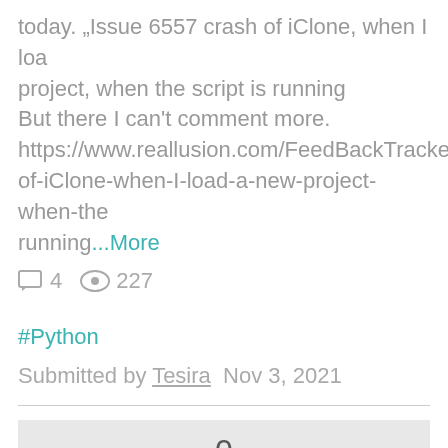today. „Issue 6557 crash of iClone, when I loa project, when the script is running But there I can't comment more. https://www.reallusion.com/FeedBackTracke of-iClone-when-I-load-a-new-project-when-the running...More
4  227
#Python
Submitted by Tesira  Nov 3, 2021
0 Votes
Active